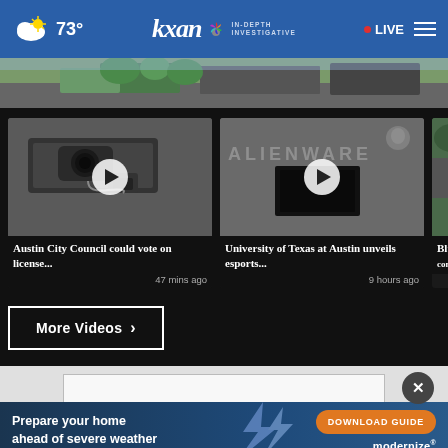73° | KXAN IN-DEPTH INVESTIGATIVE | LIVE
[Figure (screenshot): Hero banner image showing urban street scene with greenery]
[Figure (screenshot): Video thumbnail showing dashcam/camera device]
Austin City Council could vote on license...
47 mins ago
[Figure (screenshot): Video thumbnail showing Alienware gaming setup]
University of Texas at Austin unveils esports...
9 hours ago
[Figure (screenshot): Partially visible third video thumbnail]
Blue H... conse...
More Videos ›
[Figure (infographic): Advertisement banner: Prepare your home ahead of severe weather - DOWNLOAD GUIDE - modernize]
Prepare your home ahead of severe weather